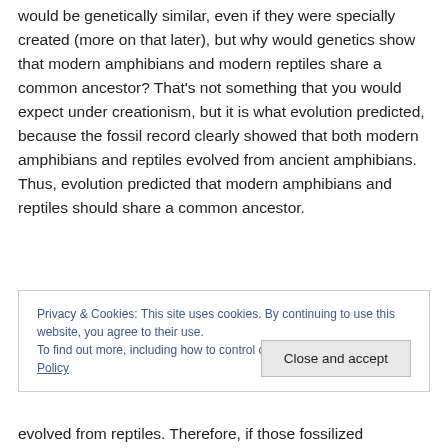would be genetically similar, even if they were specially created (more on that later), but why would genetics show that modern amphibians and modern reptiles share a common ancestor? That's not something that you would expect under creationism, but it is what evolution predicted, because the fossil record clearly showed that both modern amphibians and reptiles evolved from ancient amphibians. Thus, evolution predicted that modern amphibians and reptiles should share a common ancestor.
Privacy & Cookies: This site uses cookies. By continuing to use this website, you agree to their use. To find out more, including how to control cookies, see here: Cookie Policy
evolved from reptiles. Therefore, if those fossilized